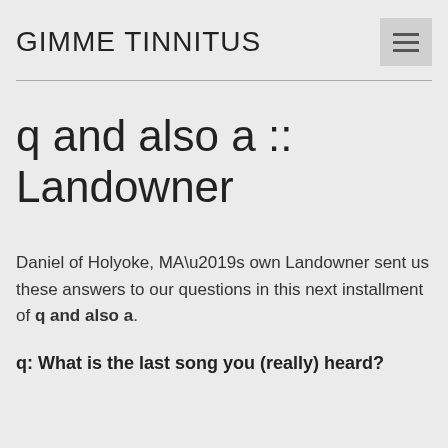GIMME TINNITUS
q and also a :: Landowner
Daniel of Holyoke, MA’s own Landowner sent us these answers to our questions in this next installment of q and also a.
q: What is the last song you (really) heard?